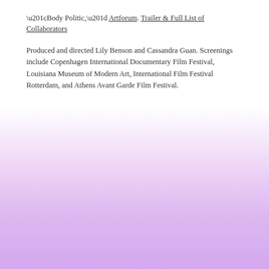“Body Politic,” Artforum. Trailer & Full List of Collaborators
Produced and directed Lily Benson and Cassandra Guan. Screenings include Copenhagen International Documentary Film Festival, Louisiana Museum of Modern Art, International Film Festival Rotterdam, and Athens Avant Garde Film Festival.